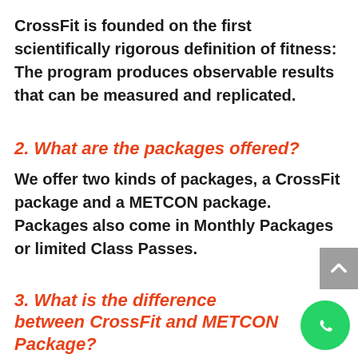CrossFit is founded on the first scientifically rigorous definition of fitness: The program produces observable results that can be measured and replicated.
2. What are the packages offered?
We offer two kinds of packages, a CrossFit package and a METCON package. Packages also come in Monthly Packages or limited Class Passes.
3. What is the difference between CrossFit and METCON Package?